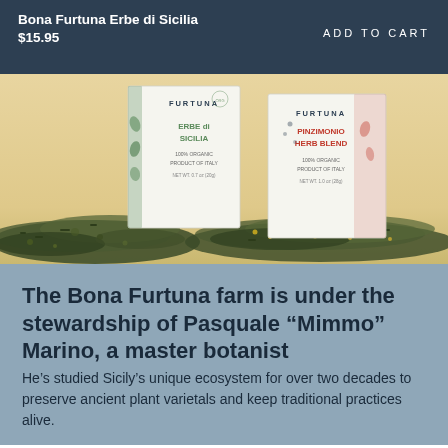Bona Furtuna Erbe di Sicilia
$15.95
ADD TO CART
[Figure (photo): Product photo showing two Bona Furtuna herb boxes (Erbe di Sicilia and Pinzimonio Herb Blend) on a cream/tan background with dried herb blends spilled in front of them]
The Bona Furtuna farm is under the stewardship of Pasquale “Mimmo” Marino, a master botanist
He’s studied Sicily’s unique ecosystem for over two decades to preserve ancient plant varietals and keep traditional practices alive.